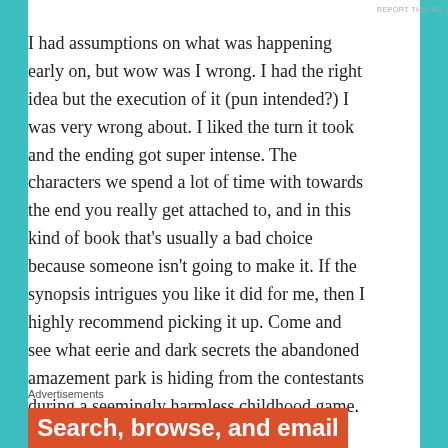REPORT THIS AD
I had assumptions on what was happening early on, but wow was I wrong. I had the right idea but the execution of it (pun intended?) I was very wrong about. I liked the turn it took and the ending got super intense. The characters we spend a lot of time with towards the end you really get attached to, and in this kind of book that's usually a bad choice because someone isn't going to make it. If the synopsis intrigues you like it did for me, then I highly recommend picking it up. Come and see what eerie and dark secrets the abandoned amazement park is hiding from the contestants during a seemingly harmless childhood game. Come out, come out, wherever you are!
Advertisements
[Figure (other): Orange advertisement banner showing text 'Search, browse, and email']